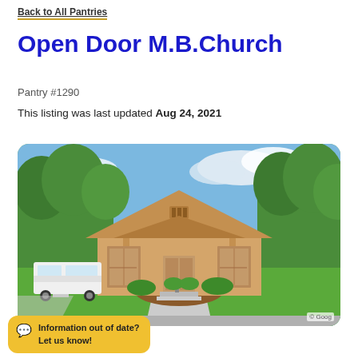Back to All Pantries
Open Door M.B.Church
Pantry #1290
This listing was last updated Aug 24, 2021
[Figure (photo): Exterior photo of Open Door M.B. Church - a single-story beige building with a peaked roof, green lawn, white van parked to the left, trees in background]
Information out of date? Let us know!